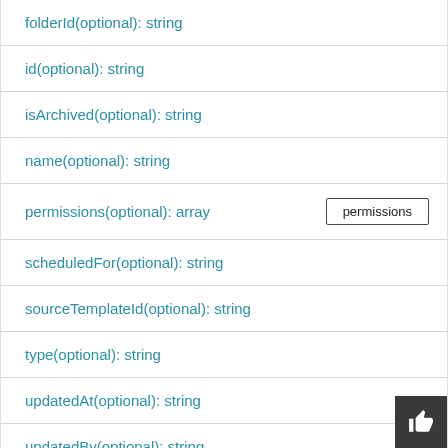folderId(optional): string
id(optional): string
isArchived(optional): string
name(optional): string
permissions(optional): array
scheduledFor(optional): string
sourceTemplateId(optional): string
type(optional): string
updatedAt(optional): string
updatedBy(optional): string